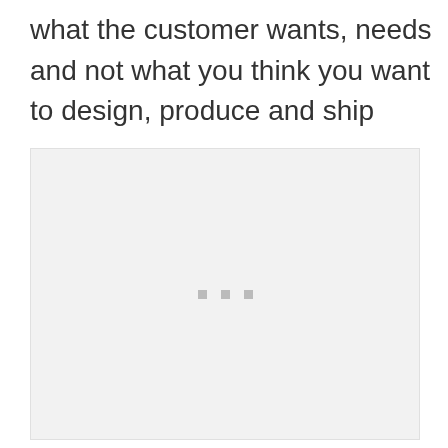what the customer wants, needs and not what you think you want to design, produce and ship
[Figure (other): A light gray placeholder box with three small gray square dots centered near the bottom middle, indicating a loading or empty image placeholder.]